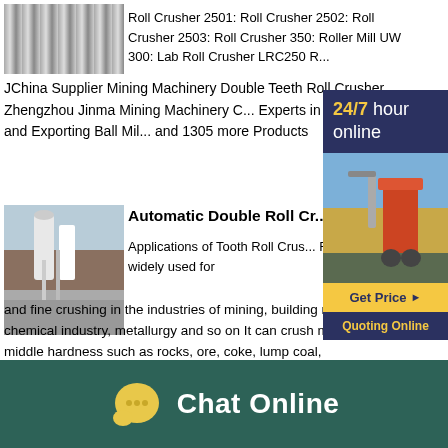[Figure (photo): Metal roll crusher close-up image]
Roll Crusher 2501: Roll Crusher 2502: Roll Crusher 2503: Roll Crusher 350: Roller Mill UW 300: Lab Roll Crusher LRC250 R... JChina Supplier Mining Machinery Double Teeth Roll Crusher Zhengzhou Jinma Mining Machinery C... Experts in Manufacturing and Exporting Ball Mil... and 1305 more Products
[Figure (infographic): 24/7 hour online sidebar panel with industrial machinery photo, Get Price button, and Quoting Online button]
[Figure (photo): Automatic double roll crusher industrial plant photo]
Automatic Double Roll Cr...
Applications of Tooth Roll Crus... Roll Crusher is widely used for medium and fine crushing in the industries of mining, building materials, chemical industry, metallurgy and so on It can crush materials in middle hardness such as rocks, ore, coke, lump coal,
Chat Online